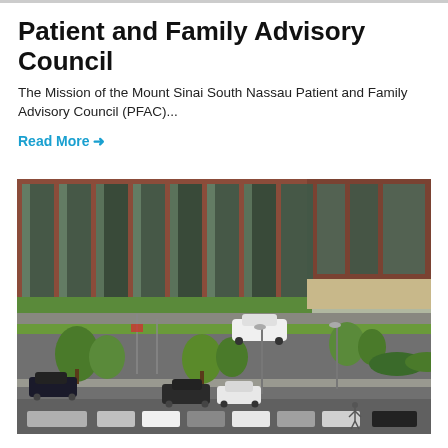Patient and Family Advisory Council
The Mission of the Mount Sinai South Nassau Patient and Family Advisory Council (PFAC)...
Read More →
[Figure (photo): Aerial view of a hospital building with brick and glass facade, parking lot with cars, trees, and landscaping in front of the main entrance.]